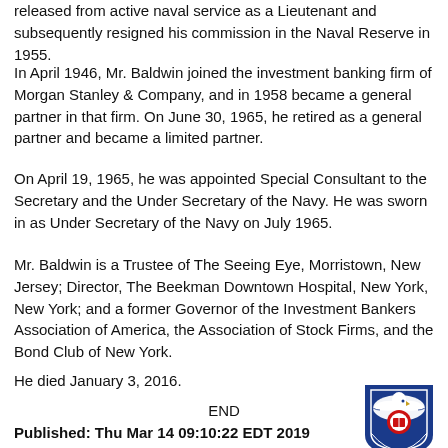released from active naval service as a Lieutenant and subsequently resigned his commission in the Naval Reserve in 1955.
In April 1946, Mr. Baldwin joined the investment banking firm of Morgan Stanley & Company, and in 1958 became a general partner in that firm. On June 30, 1965, he retired as a general partner and became a limited partner.
On April 19, 1965, he was appointed Special Consultant to the Secretary and the Under Secretary of the Navy. He was sworn in as Under Secretary of the Navy on July 1965.
Mr. Baldwin is a Trustee of The Seeing Eye, Morristown, New Jersey; Director, The Beekman Downtown Hospital, New York, New York; and a former Governor of the Investment Bankers Association of America, the Association of Stock Firms, and the Bond Club of New York.
He died January 3, 2016.
END
[Figure (logo): Navy or government shield logo with eagle, blue and red colors]
Published: Thu Mar 14 09:10:22 EDT 2019